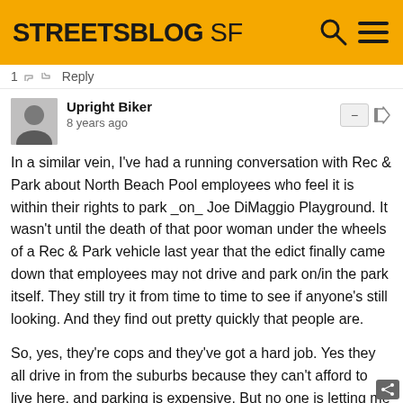STREETSBLOG SF
1 Reply
Upright Biker
8 years ago
In a similar vein, I've had a running conversation with Rec & Park about North Beach Pool employees who feel it is within their rights to park _on_ Joe DiMaggio Playground. It wasn't until the death of that poor woman under the wheels of a Rec & Park vehicle last year that the edict finally came down that employees may not drive and park on/in the park itself. They still try it from time to time to see if anyone's still looking. And they find out pretty quickly that people are.

So, yes, they're cops and they've got a hard job. Yes they all drive in from the suburbs because they can't afford to live here, and parking is expensive. But no one is letting me park for free in the park near my work because I have a hard job and parking is expensive. And from a safety standpoint, there really should not be be frequent driving and parking in areas where pedestrians are not expecting to encounter them.